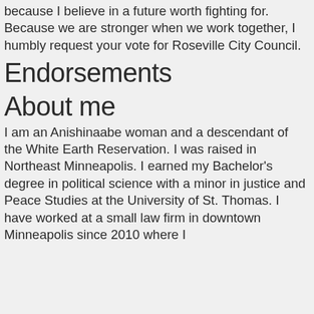because I believe in a future worth fighting for. Because we are stronger when we work together, I humbly request your vote for Roseville City Council.
Endorsements
About me
I am an Anishinaabe woman and a descendant of the White Earth Reservation. I was raised in Northeast Minneapolis. I earned my Bachelor’s degree in political science with a minor in justice and Peace Studies at the University of St. Thomas. I have worked at a small law firm in downtown Minneapolis since 2010 where I